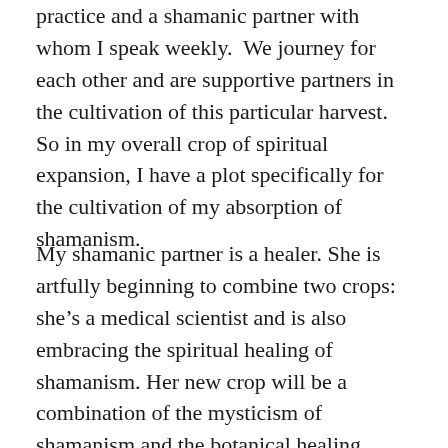practice and a shamanic partner with whom I speak weekly. We journey for each other and are supportive partners in the cultivation of this particular harvest. So in my overall crop of spiritual expansion, I have a plot specifically for the cultivation of my absorption of shamanism.
My shamanic partner is a healer. She is artfully beginning to combine two crops: she's a medical scientist and is also embracing the spiritual healing of shamanism. Her new crop will be a combination of the mysticism of shamanism and the botanical healing...